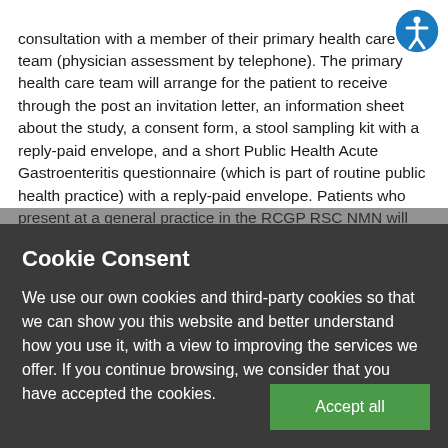consultation with a member of their primary health care team (physician assessment by telephone). The primary health care team will arrange for the patient to receive through the post an invitation letter, an information sheet about the study, a consent form, a stool sampling kit with a reply-paid envelope, and a short Public Health Acute Gastroenteritis questionnaire (which is part of routine public health practice) with a reply-paid envelope. Patients who present at a general practice in the RCGP RSC NMN will receive these items in person. Patients who consent to take part and provide a stool sample will be recruited into the study. Consent statements agreed to in the study consent form include acknowledgment that taking
Cookie Consent
We use our own cookies and third-party cookies so that we can show you this website and better understand how you use it, with a view to improving the services we offer. If you continue browsing, we consider that you have accepted the cookies.